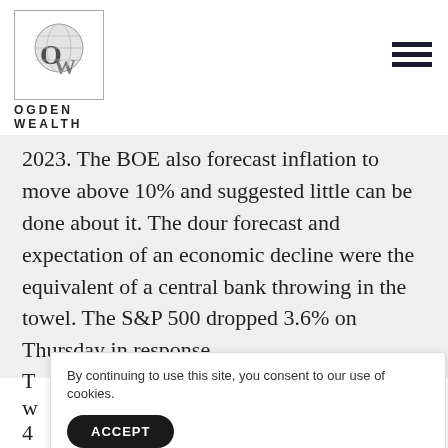[Figure (logo): Ogden Wealth logo: circle with globe design and OW letters, inside a square border]
OGDEN
WEALTH
2023. The BOE also forecast inflation to move above 10% and suggested little can be done about it. The dour forecast and expectation of an economic decline were the equivalent of a central bank throwing in the towel. The S&P 500 dropped 3.6% on Thursday in response.
By continuing to use this site, you consent to our use of cookies.
ACCEPT